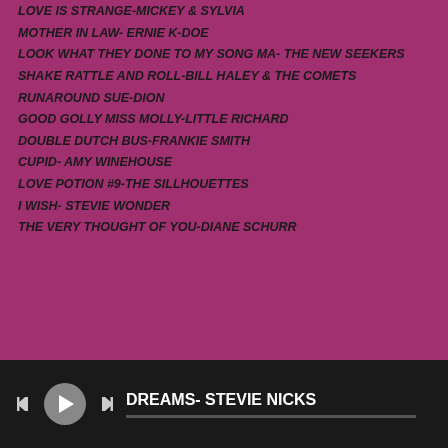LOVE IS STRANGE-MICKEY & SYLVIA
MOTHER IN LAW- ERNIE K-DOE
LOOK WHAT THEY DONE TO MY SONG MA- THE NEW SEEKERS
SHAKE RATTLE AND ROLL-BILL HALEY & THE COMETS
RUNAROUND SUE-DION
GOOD GOLLY MISS MOLLY-LITTLE RICHARD
DOUBLE DUTCH BUS-FRANKIE SMITH
CUPID- AMY WINEHOUSE
LOVE POTION #9-THE SILLHOUETTES
I WISH- STEVIE WONDER
THE VERY THOUGHT OF YOU-DIANE SCHURR
DREAMS- STEVIE NICKS